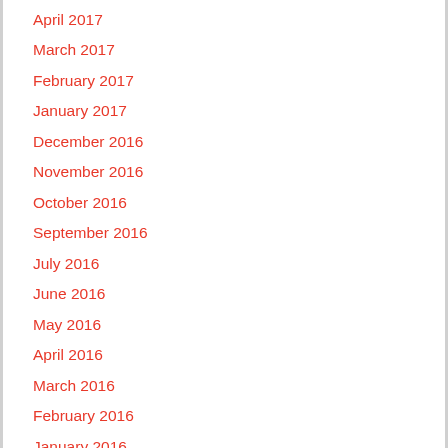April 2017
March 2017
February 2017
January 2017
December 2016
November 2016
October 2016
September 2016
July 2016
June 2016
May 2016
April 2016
March 2016
February 2016
January 2016
December 2015
November 2015
October 2015